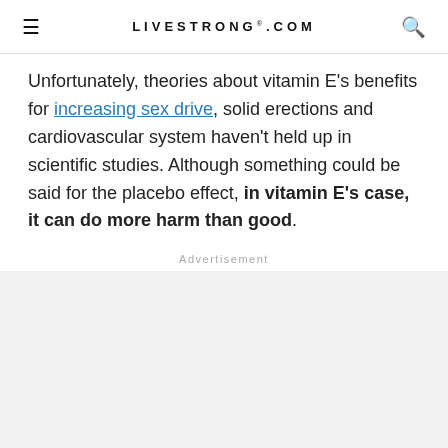LIVESTRONG.COM
Unfortunately, theories about vitamin E's benefits for increasing sex drive, solid erections and cardiovascular system haven't held up in scientific studies. Although something could be said for the placebo effect, in vitamin E's case, it can do more harm than good.
Advertisement